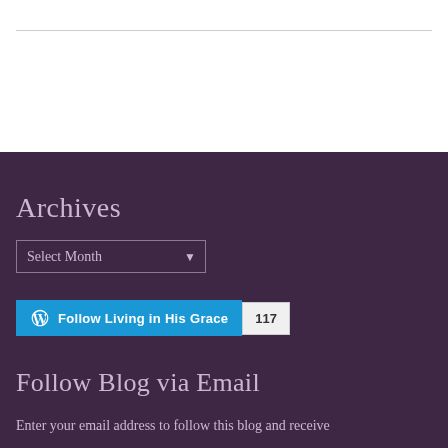Archives
Select Month
[Figure (other): WordPress Follow button with text 'Follow Living in His Grace' and follower count badge showing 117]
Follow Blog via Email
Enter your email address to follow this blog and receive